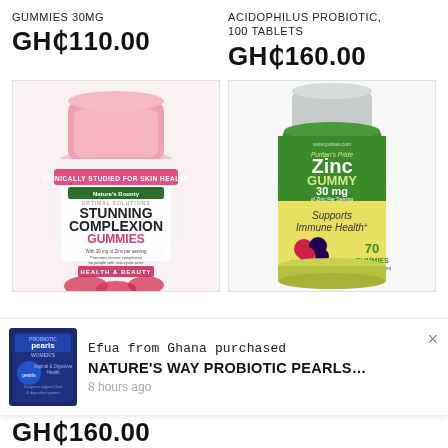GUMMIES 30MG
GH₵110.00
ACIDOPHILUS PROBIOTIC, 100 TABLETS
GH₵160.00
[Figure (photo): Nature's Bounty Stunning Complexion Gummies bottle with pink cap and strawberry imagery, labeled CLINICALLY STUDIED FOR SKIN HEALTH, HEALTH & BEAUTY, With 30 mg of Zinc per serving]
[Figure (photo): Puritan's Pride Zinc Gummy 30mg bottle, green and yellow, Supports Immune Health, 70 Gummies, Mixed Berry Flavored]
Efua from Ghana purchased
NATURE'S WAY PROBIOTIC PEARLS…
[Figure (photo): Nature's Way Probiotic Pearls Women's bottle, small dark package]
8 hours ago
GH₵160.00